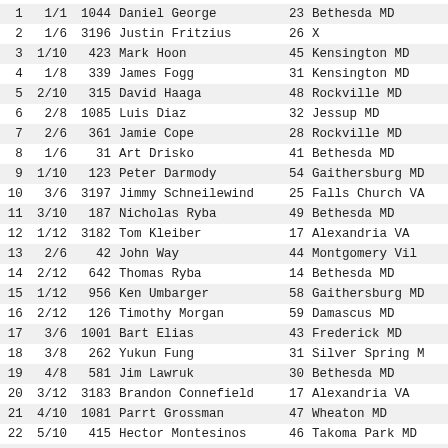| # | Heat | Bib | Name | Age | Location |
| --- | --- | --- | --- | --- | --- |
| 1 | 1/1 | 1044 | Daniel George | 23 | Bethesda MD |
| 2 | 1/6 | 3196 | Justin Fritzius | 26 | X |
| 3 | 1/10 | 423 | Mark Hoon | 45 | Kensington MD |
| 4 | 1/8 | 339 | James Fogg | 31 | Kensington MD |
| 5 | 2/10 | 315 | David Haaga | 48 | Rockville MD |
| 6 | 2/8 | 1085 | Luis Diaz | 32 | Jessup MD |
| 7 | 2/6 | 361 | Jamie Cope | 28 | Rockville MD |
| 8 | 1/6 | 31 | Art Drisko | 41 | Bethesda MD |
| 9 | 1/10 | 123 | Peter Darmody | 54 | Gaithersburg MD |
| 10 | 3/6 | 3197 | Jimmy Schneilewind | 25 | Falls Church VA |
| 11 | 3/10 | 187 | Nicholas Ryba | 49 | Bethesda MD |
| 12 | 1/12 | 3182 | Tom Kleiber | 17 | Alexandria VA |
| 13 | 2/6 | 42 | John Way | 44 | Montgomery Vil |
| 14 | 2/12 | 642 | Thomas Ryba | 14 | Bethesda MD |
| 15 | 1/12 | 956 | Ken Umbarger | 58 | Gaithersburg MD |
| 16 | 2/12 | 126 | Timothy Morgan | 59 | Damascus MD |
| 17 | 3/6 | 1001 | Bart Elias | 43 | Frederick MD |
| 18 | 3/8 | 262 | Yukun Fung | 31 | Silver Spring M |
| 19 | 4/8 | 581 | Jim Lawruk | 30 | Bethesda MD |
| 20 | 3/12 | 3183 | Brandon Connefield | 17 | Alexandria VA |
| 21 | 4/10 | 1081 | Parrt Grossman | 47 | Wheaton MD |
| 22 | 5/10 | 415 | Hector Montesinos | 46 | Takoma Park MD |
| 23 | 3/12 | 56 | John Mornini | 55 | Germantown MD |